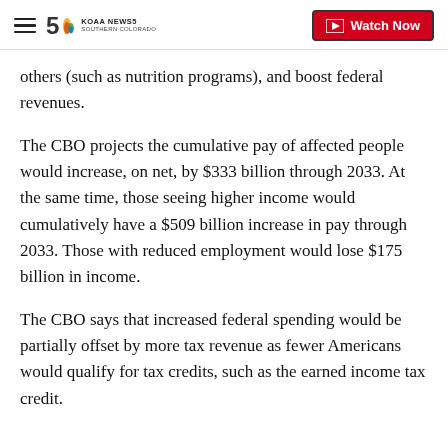KOAA NEWS5 SOUTHERN COLORADO | Watch Now
others (such as nutrition programs), and boost federal revenues.
The CBO projects the cumulative pay of affected people would increase, on net, by $333 billion through 2033. At the same time, those seeing higher income would cumulatively have a $509 billion increase in pay through 2033. Those with reduced employment would lose $175 billion in income.
The CBO says that increased federal spending would be partially offset by more tax revenue as fewer Americans would qualify for tax credits, such as the earned income tax credit.